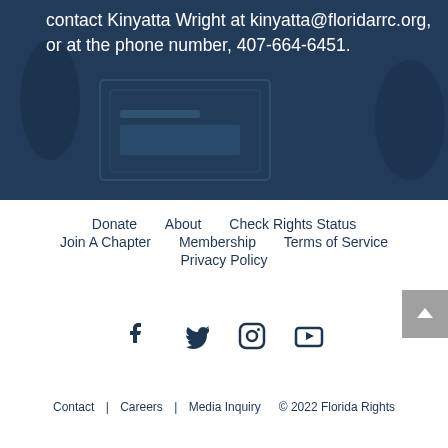contact Kinyatta Wright at kinyatta@floridarrc.org, or at the phone number, 407-664-6451.
Donate  About  Check Rights Status  Join A Chapter  Membership  Terms of Service  Privacy Policy
[Figure (other): Social media icons: Facebook, Twitter, Instagram, YouTube]
Contact | Careers | Media Inquiry  © 2022 Florida Rights